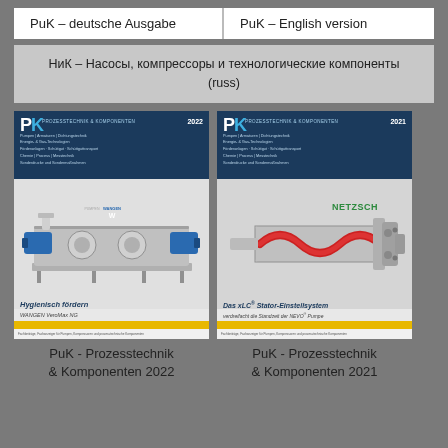PuK – deutsche Ausgabe | PuK – English version
НиК – Насосы, компрессоры и технологические компоненты (russ)
[Figure (photo): PuK Prozesstechnik & Komponenten 2022 magazine cover featuring industrial pump with WANGEN branding and text 'Hygienisch fördern WANGEN VeroMax NG']
[Figure (photo): PuK Prozesstechnik & Komponenten 2021 magazine cover featuring NETZSCH pump system and text 'Das xLC Stator-Einstellsystem verdreifacht die Standzeit der NEVO Pumpe']
PuK - Prozesstechnik & Komponenten 2022
PuK - Prozesstechnik & Komponenten 2021